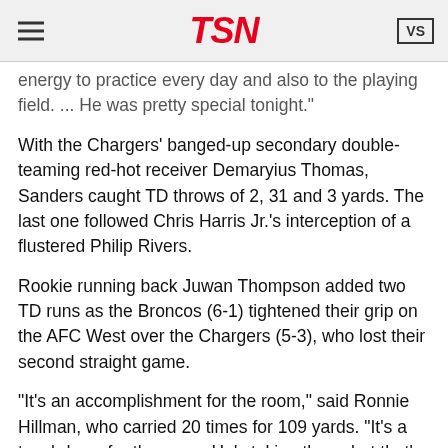TSN
energy to practice every day and also to the playing field. ... He was pretty special tonight."
With the Chargers' banged-up secondary double-teaming red-hot receiver Demaryius Thomas, Sanders caught TD throws of 2, 31 and 3 yards. The last one followed Chris Harris Jr.'s interception of a flustered Philip Rivers.
Rookie running back Juwan Thompson added two TD runs as the Broncos (6-1) tightened their grip on the AFC West over the Chargers (5-3), who lost their second straight game.
"It's an accomplishment for the room," said Ronnie Hillman, who carried 20 times for 109 yards. "It's a touchdown for the room. He's taking them, but that's all right. He earns them. That's a tough 2 yards to get. I'm just playing my role getting him down there."